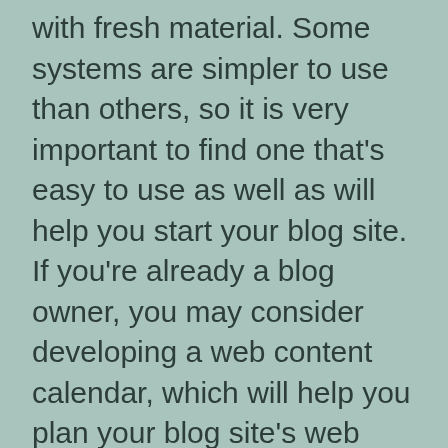with fresh material. Some systems are simpler to use than others, so it is very important to find one that's easy to use as well as will help you start your blog site. If you're already a blog owner, you may consider developing a web content calendar, which will help you plan your blog site's web content. Along with producing a web content calendar, a regular schedule for creating articles will help you remain on top of your blog writing tasks.
Blogging can assist you develop your personal brand name. You can share your viewpoints and experiences without the involvement of